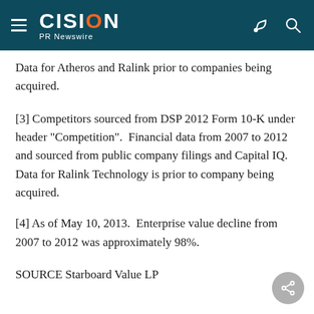CISION PR Newswire
Data for Atheros and Ralink prior to companies being acquired.
[3] Competitors sourced from DSP 2012 Form 10-K under header "Competition".  Financial data from 2007 to 2012 and sourced from public company filings and Capital IQ.  Data for Ralink Technology is prior to company being acquired.
[4] As of May 10, 2013.  Enterprise value decline from 2007 to 2012 was approximately 98%.
SOURCE Starboard Value LP